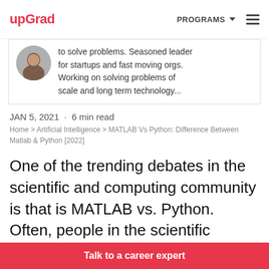upGrad | PROGRAMS ☰
[Figure (photo): Author profile photo (circular) and partial bio text: 'to solve problems. Seasoned leader for startups and fast moving orgs. Working on solving problems of scale and long term technology...']
JAN 5, 2021 · 6 min read
Home > Artificial Intelligence > MATLAB Vs Python: Difference Between Matlab & Python [2022]
One of the trending debates in the scientific and computing community is that is MATLAB vs. Python. Often, people in the scientific community
Talk to a career expert